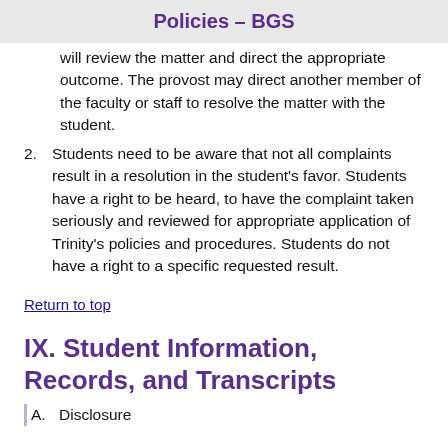Policies – BGS
will review the matter and direct the appropriate outcome. The provost may direct another member of the faculty or staff to resolve the matter with the student.
2. Students need to be aware that not all complaints result in a resolution in the student's favor. Students have a right to be heard, to have the complaint taken seriously and reviewed for appropriate application of Trinity's policies and procedures. Students do not have a right to a specific requested result.
Return to top
IX. Student Information, Records, and Transcripts
A. Disclosure